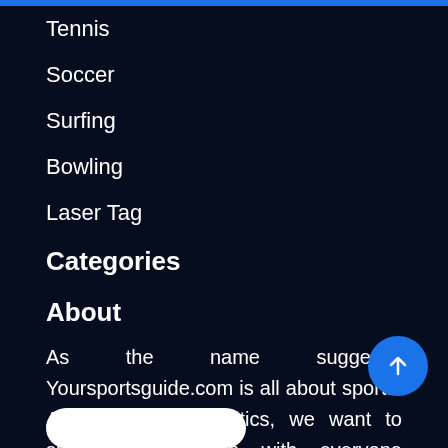Tennis
Soccer
Surfing
Bowling
Laser Tag
Categories
About
As the name suggests, Yoursportsguide.com is all about sports! As true sports fanatics, we want to share our passion with everyone worldwide, and what better way to do that than through the Internet.